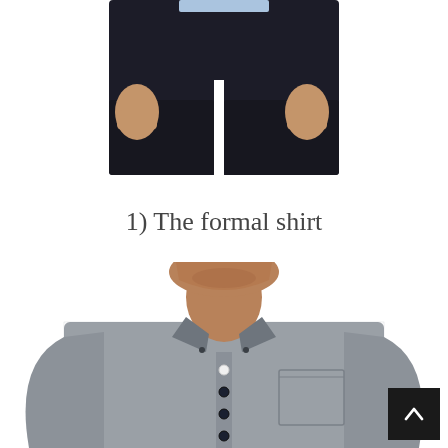[Figure (photo): Cropped photo of a man from waist down wearing dark navy/black trousers, hands at sides, with a light blue shirt barely visible at the top.]
1) The formal shirt
[Figure (photo): Photo of a man wearing a grey formal button-down shirt with a chest pocket and button-down collar, face partially visible from chin up.]
[Figure (other): Dark scroll-to-top button with an upward chevron arrow icon, positioned in the bottom right corner.]